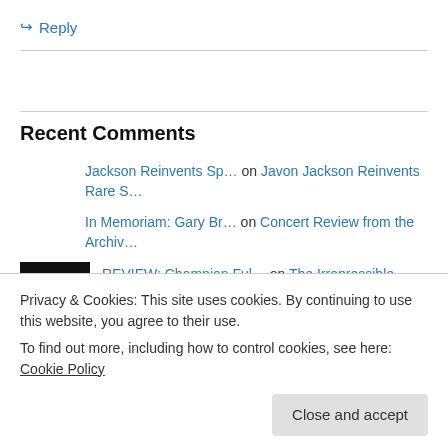↪ Reply
Recent Comments
Jackson Reinvents Sp… on Javon Jackson Reinvents Rare S…
In Memoriam: Gary Br… on Concert Review from the Archiv…
REVIEW: Champian Ful… on The Irrepressible Champian
Privacy & Cookies: This site uses cookies. By continuing to use this website, you agree to their use.
To find out more, including how to control cookies, see here: Cookie Policy
Close and accept